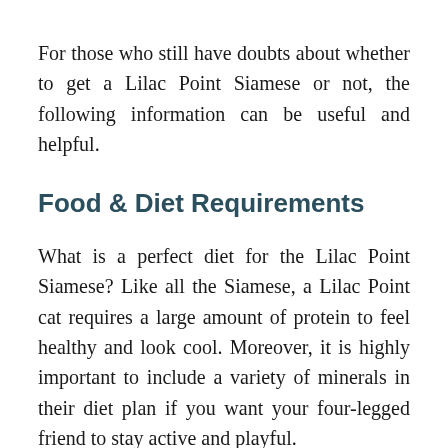For those who still have doubts about whether to get a Lilac Point Siamese or not, the following information can be useful and helpful.
Food & Diet Requirements
What is a perfect diet for the Lilac Point Siamese? Like all the Siamese, a Lilac Point cat requires a large amount of protein to feel healthy and look cool. Moreover, it is highly important to include a variety of minerals in their diet plan if you want your four-legged friend to stay active and playful.